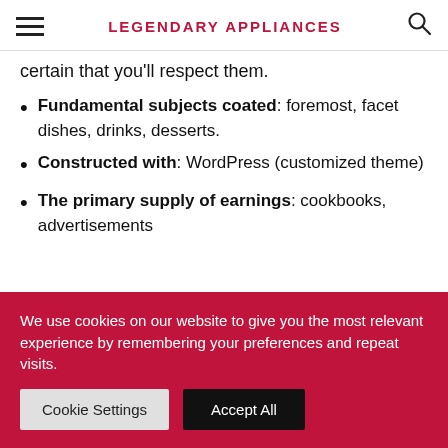LEGENDARY APPLIANCES
certain that you'll respect them.
Fundamental subjects coated: foremost, facet dishes, drinks, desserts.
Constructed with: WordPress (customized theme)
The primary supply of earnings: cookbooks, advertisements
We use cookies on our website to give you the most relevant experience by remembering your preferences and repeat visits.